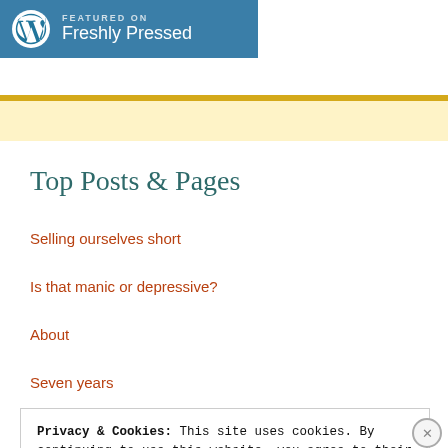[Figure (logo): WordPress Featured on Freshly Pressed badge — blue rectangle with WP logo and text]
Top Posts & Pages
Selling ourselves short
Is that manic or depressive?
About
Seven years
Privacy & Cookies: This site uses cookies. By continuing to use this website, you agree to their use.
To find out more, including how to control cookies, see here: Cookie Policy
Close and accept